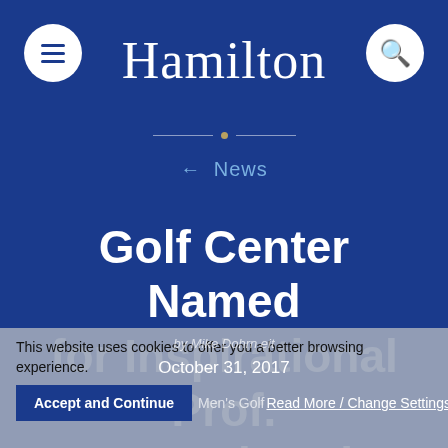Hamilton
← News
Golf Center Named for Inspirational Prof. & Coach Bob Simon
by Mike Dohrn eit
October 31, 2017
Men's Golf
This website uses cookies to offer you a better browsing experience.
Accept and Continue
Read More / Change Settings